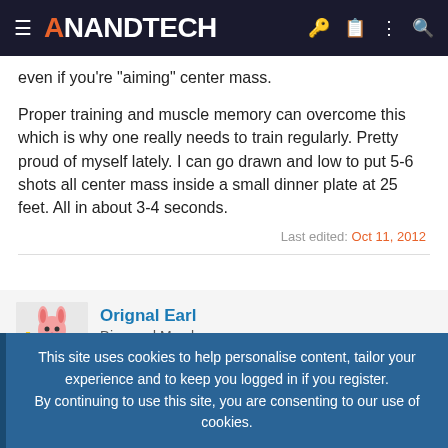AnandTech
even if you're "aiming" center mass.
Proper training and muscle memory can overcome this which is why one really needs to train regularly. Pretty proud of myself lately. I can go drawn and low to put 5-6 shots all center mass inside a small dinner plate at 25 feet. All in about 3-4 seconds.
Last edited: Oct 11, 2012
Orignal Earl
Diamond Member
Oct 27, 2005  8,059  55  86
This site uses cookies to help personalise content, tailor your experience and to keep you logged in if you register.
By continuing to use this site, you are consenting to our use of cookies.